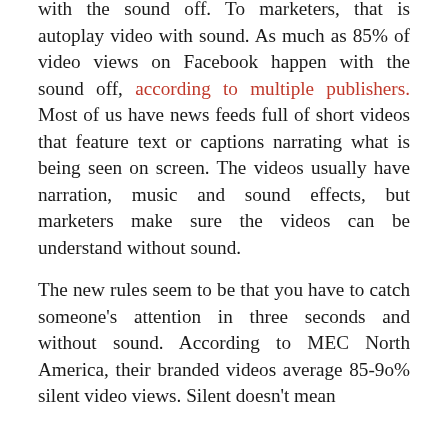with the sound off. To marketers, that is autoplay video with sound. As much as 85% of video views on Facebook happen with the sound off, according to multiple publishers. Most of us have news feeds full of short videos that feature text or captions narrating what is being seen on screen. The videos usually have narration, music and sound effects, but marketers make sure the videos can be understand without sound.

The new rules seem to be that you have to catch someone's attention in three seconds and without sound. According to MEC North America, their branded videos average 85-9o% silent video views. Silent doesn't mean